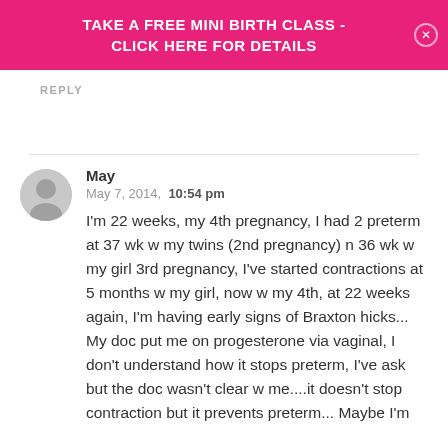TAKE A FREE MINI BIRTH CLASS - CLICK HERE FOR DETAILS
REPLY
May
May 7, 2014, 10:54 pm
I'm 22 weeks, my 4th pregnancy, I had 2 preterm at 37 wk w my twins (2nd pregnancy) n 36 wk w my girl 3rd pregnancy, I've started contractions at 5 months w my girl, now w my 4th, at 22 weeks again, I'm having early signs of Braxton hicks... My doc put me on progesterone via vaginal, I don't understand how it stops preterm, I've ask but the doc wasn't clear w me....it doesn't stop contraction but it prevents preterm... Maybe I'm